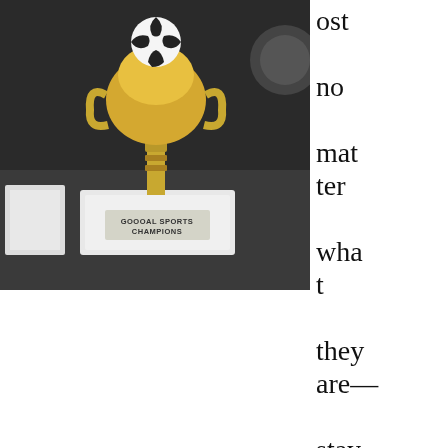[Figure (photo): A gold plastic soccer trophy with a soccer ball on top, sitting on a white stone base with a plaque reading 'GOOOAL SPORTS CHAMPIONS'. Dark background with other objects visible.]
ost no mat ter wha t they are— stay in
One of my son's plastic soccer trophies, a gold plastic cup with a soccer ball on a stone base.
your bio and people love them. It's a short-hand way to attest to your perceived “quality” as a writer. By the time I realized this, I had just started to research these awards, and at that point, most of the “year